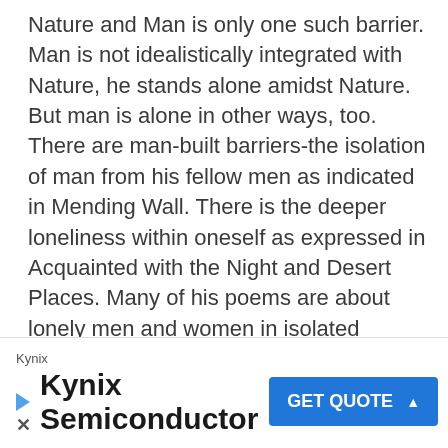Nature and Man is only one such barrier. Man is not idealistically integrated with Nature, he stands alone amidst Nature. But man is alone in other ways, too. There are man-built barriers-the isolation of man from his fellow men as indicated in Mending Wall. There is the deeper loneliness within oneself as expressed in Acquainted with the Night and Desert Places. Many of his poems are about lonely men and women in isolated farmhouses dotting the vast, formidable New England landscape.
Frost's Poems are Complex and Often
[Figure (other): Advertisement banner for Kynix Semiconductor with a blue 'GET QUOTE' button and a close (x) button at bottom left.]